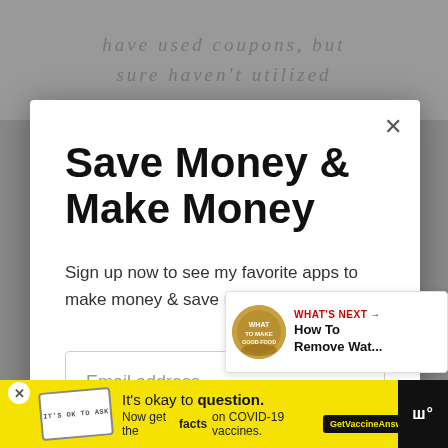have used coupons, but sure haven't utilized
Save Money & Make Money
Sign up now to see my favorite apps to make money & save money
Email address
Get It Now
WHAT'S NEXT → How To Remove Wat...
It's okay to question. Now get the facts on COVID-19 vaccines. GetVaccineAnswers.org